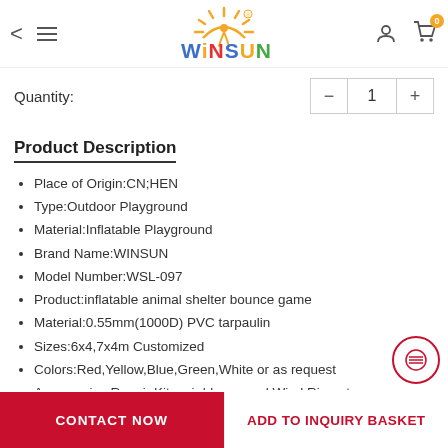WINSUN - navigation header with back, menu, user, cart icons
Quantity: 1
Product Description
Place of Origin:CN;HEN
Type:Outdoor Playground
Material:Inflatable Playground
Brand Name:WINSUN
Model Number:WSL-097
Product:inflatable animal shelter bounce game
Material:0.55mm(1000D) PVC tarpaulin
Sizes:6x4,7x4m Customized
Colors:Red,Yellow,Blue,Green,White or as request
Accessories:Repair Kits, air blower and Wind Ring,etc
Blower:Free and With CE or UL certificate water slide inflatable
CONTACT NOW | ADD TO INQUIRY BASKET